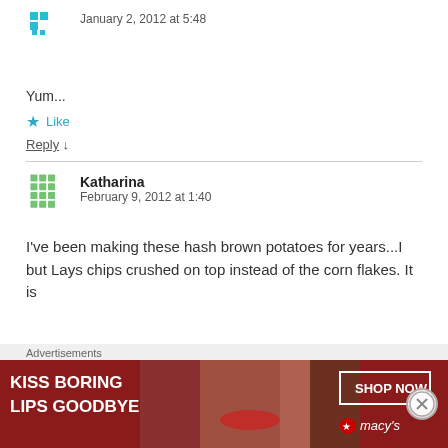January 2, 2012 at 5:48
Yum...
★ Like
Reply ↓
Katharina
February 9, 2012 at 1:40
I've been making these hash brown potatoes for years...I but Lays chips crushed on top instead of the corn flakes. It is
Advertisements
[Figure (photo): Macy's advertisement: KISS BORING LIPS GOODBYE with SHOP NOW button and Macy's logo]